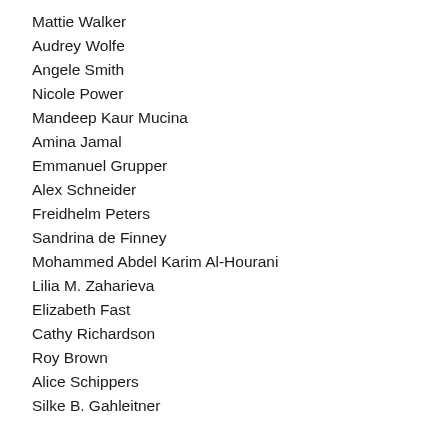Mattie Walker
Audrey Wolfe
Angele Smith
Nicole Power
Mandeep Kaur Mucina
Amina Jamal
Emmanuel Grupper
Alex Schneider
Freidhelm Peters
Sandrina de Finney
Mohammed Abdel Karim Al-Hourani
Lilia M. Zaharieva
Elizabeth Fast
Cathy Richardson
Roy Brown
Alice Schippers
Silke B. Gahleitner